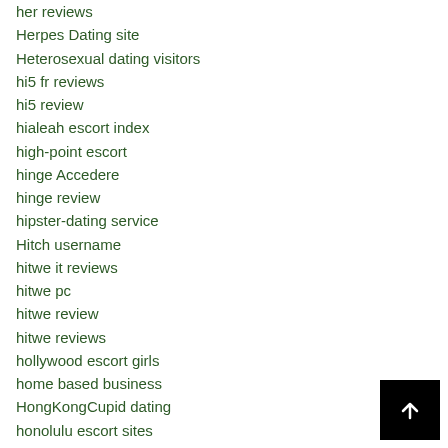her reviews
Herpes Dating site
Heterosexual dating visitors
hi5 fr reviews
hi5 review
hialeah escort index
high-point escort
hinge Accedere
hinge review
hipster-dating service
Hitch username
hitwe it reviews
hitwe pc
hitwe review
hitwe reviews
hollywood escort girls
home based business
HongKongCupid dating
honolulu escort sites